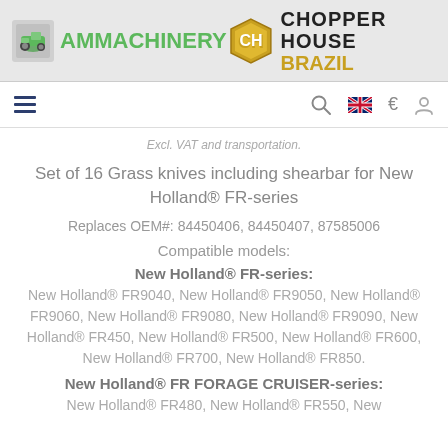[Figure (logo): AM Machinery logo with green tractor icon and green AM text]
[Figure (logo): Chopper House Brazil logo with hexagonal CH icon and bold text]
[Figure (screenshot): Navigation bar with hamburger menu, search icon, UK flag, euro sign, and user icon]
Excl. VAT and transportation.
Set of 16 Grass knives including shearbar for New Holland® FR-series
Replaces OEM#: 84450406, 84450407, 87585006
Compatible models:
New Holland® FR-series:
New Holland® FR9040, New Holland® FR9050, New Holland® FR9060, New Holland® FR9080, New Holland® FR9090, New Holland® FR450, New Holland® FR500, New Holland® FR600, New Holland® FR700, New Holland® FR850.
New Holland® FR FORAGE CRUISER-series:
New Holland® FR480, New Holland® FR550, New